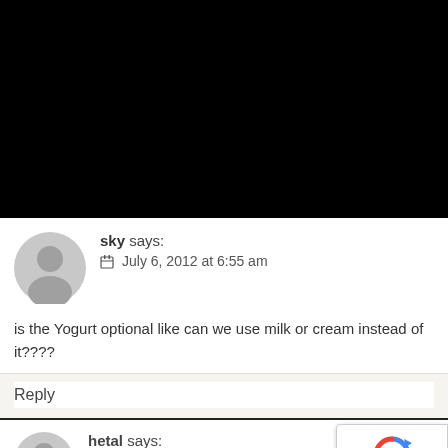[Figure (photo): Black rectangle occupying the top portion of the page (cropped image area)]
sky says:
📅 July 6, 2012 at 6:55 am

is the Yogurt optional like can we use milk or cream instead of it????
Reply
hetal says: